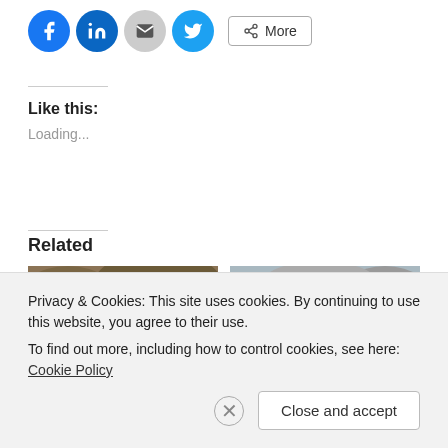[Figure (other): Social share buttons: Facebook, LinkedIn, Email, Twitter, and More button]
Like this:
Loading...
Related
[Figure (photo): Person sitting on colorful mats/blankets on rocks near water]
[Figure (photo): Person standing near rocky river/water scene]
Privacy & Cookies: This site uses cookies. By continuing to use this website, you agree to their use. To find out more, including how to control cookies, see here: Cookie Policy
Close and accept